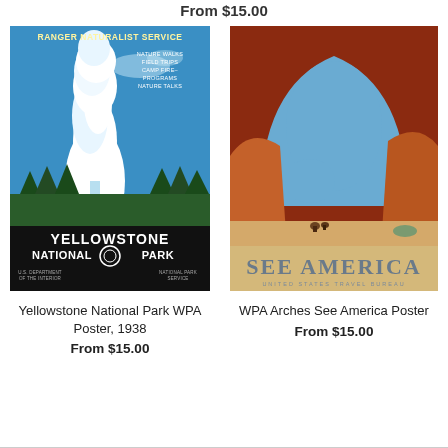From $15.00
[Figure (illustration): Yellowstone National Park WPA Poster 1938 showing Old Faithful geyser erupting, blue sky, pine trees, with text: RANGER NATURALIST SERVICE, NATURE WALKS, FIELD TRIPS, CAMP FIRE-PROGRAMS, NATURE TALKS, YELLOWSTONE NATIONAL PARK, U.S. DEPARTMENT OF THE INTERIOR, NATIONAL PARK SERVICE]
Yellowstone National Park WPA Poster, 1938
From $15.00
[Figure (illustration): WPA Arches See America poster showing red rock arch with blue sky, riders on horseback in distance, text: SEE AMERICA, UNITED STATES TRAVEL BUREAU]
WPA Arches See America Poster
From $15.00